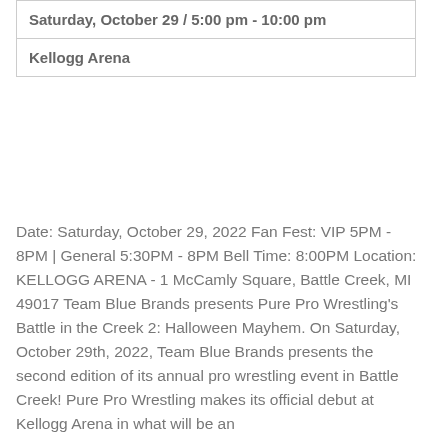| Saturday, October 29 / 5:00 pm - 10:00 pm |
| Kellogg Arena |
Date: Saturday, October 29, 2022 Fan Fest: VIP 5PM - 8PM | General 5:30PM - 8PM Bell Time: 8:00PM Location: KELLOGG ARENA - 1 McCamly Square, Battle Creek, MI 49017 Team Blue Brands presents Pure Pro Wrestling's Battle in the Creek 2: Halloween Mayhem. On Saturday, October 29th, 2022, Team Blue Brands presents the second edition of its annual pro wrestling event in Battle Creek! Pure Pro Wrestling makes its official debut at Kellogg Arena in what will be an